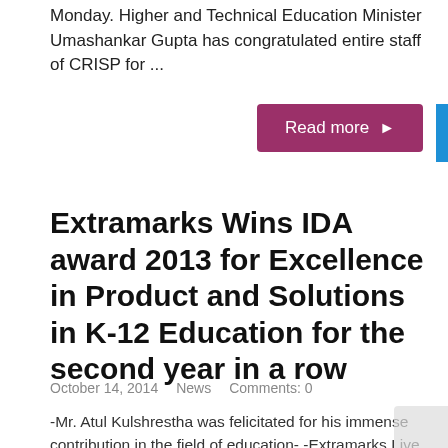Monday. Higher and Technical Education Minister Umashankar Gupta has congratulated entire staff of CRISP for ...
Read more ▶
Extramarks Wins IDA award 2013 for Excellence in Product and Solutions in K-12 Education for the second year in a row
October 14, 2014   News   Comments: 0
-Mr. Atul Kulshrestha was felicitated for his immense contribution in the field of education- -Extramarks Live will bring about the much desired change in Self...